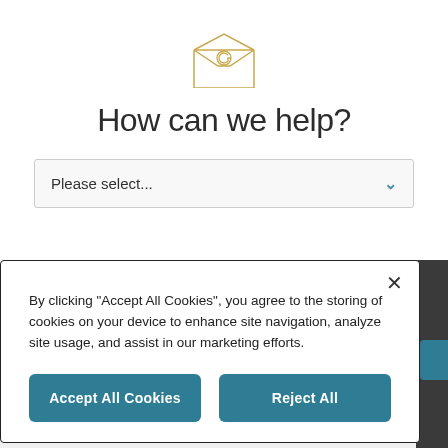[Figure (illustration): Email envelope icon with @ symbol, drawn in golden/tan outline style]
How can we help?
Please select...
By clicking "Accept All Cookies", you agree to the storing of cookies on your device to enhance site navigation, analyze site usage, and assist in our marketing efforts.
Accept All Cookies
Reject All